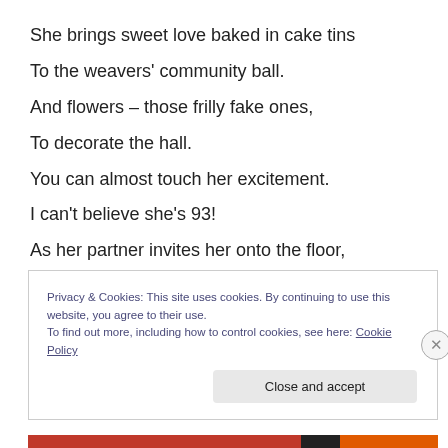She brings sweet love baked in cake tins
To the weavers' community ball.
And flowers – those frilly fake ones,
To decorate the hall.
You can almost touch her excitement.
I can't believe she's 93!
As her partner invites her onto the floor,
She smiles and says to me …
Privacy & Cookies: This site uses cookies. By continuing to use this website, you agree to their use.
To find out more, including how to control cookies, see here: Cookie Policy
Close and accept